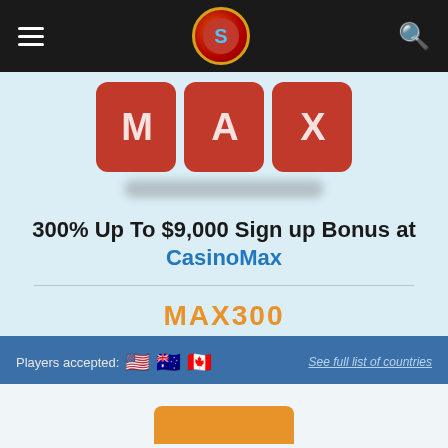Navigation bar with hamburger menu, logo, and search icon
[Figure (logo): CasinoMax logo showing M A X letters on red rounded square cards, with a blurred/redacted URL bar below]
300% Up To $9,000 Sign up Bonus at CasinoMax
MAX300
REDEEM CODE
Players accepted: 🇺🇸 🇦🇺 🇨🇦   See full list of countries